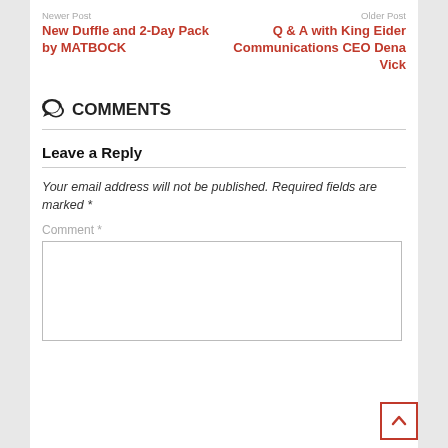Newer Post | Older Post
New Duffle and 2-Day Pack by MATBOCK
Q & A with King Eider Communications CEO Dena Vick
COMMENTS
Leave a Reply
Your email address will not be published. Required fields are marked *
Comment *